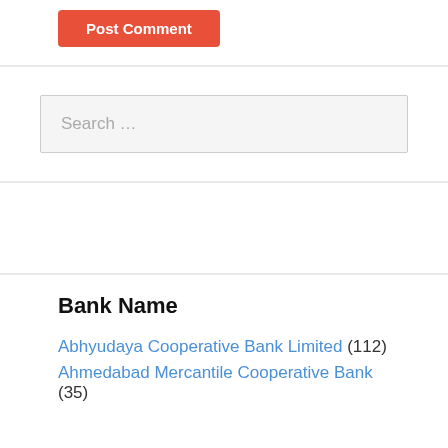[Figure (other): Red 'Post Comment' button]
[Figure (other): Search input box with placeholder 'Search ...']
Bank Name
Abhyudaya Cooperative Bank Limited (112)
Ahmedabad Mercantile Cooperative Bank (35)